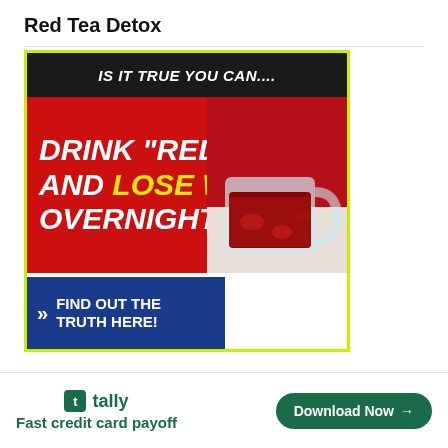Red Tea Detox
[Figure (illustration): Advertisement banner for Red Tea Detox showing text 'IS IT TRUE YOU CAN.... DRINK "RED" TEA AND LOSE WEIGHT OVERNIGHT?' with a cup of red tea and a 'FIND OUT THE TRUTH HERE!' call to action. Green border, black top strip, red background, blue CTA strip.]
[Figure (illustration): Tally app advertisement banner showing 'Fast credit card payoff' with a Download Now button]